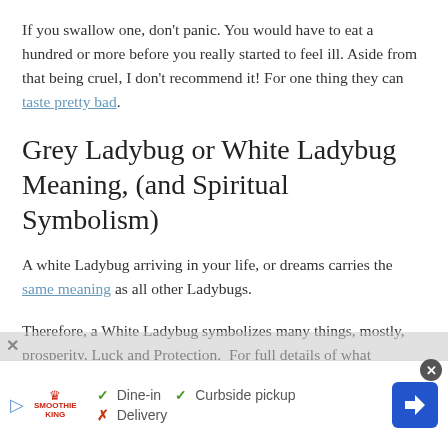If you swallow one, don't panic. You would have to eat a hundred or more before you really started to feel ill. Aside from that being cruel, I don't recommend it! For one thing they can taste pretty bad.
Grey Ladybug or White Ladybug Meaning, (and Spiritual Symbolism)
A white Ladybug arriving in your life, or dreams carries the same meaning as all other Ladybugs.
Therefore, a White Ladybug symbolizes many things, mostly, prosperity, Luck and Protection.  For full details of what Ladybugs mean in dreams, lore, legend, and other the lad...
[Figure (screenshot): Advertisement banner for Smoothie King showing Dine-in checkmark, Curbside pickup checkmark, Delivery X cross, with navigation arrow icon]